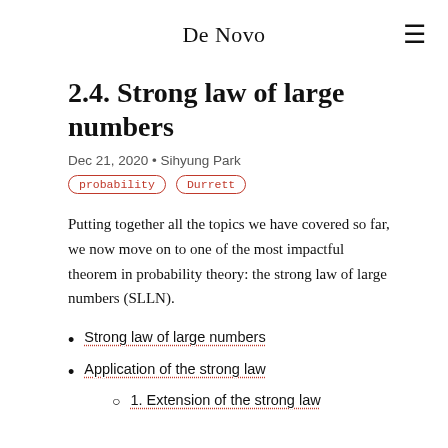De Novo
2.4. Strong law of large numbers
Dec 21, 2020 • Sihyung Park
probability   Durrett
Putting together all the topics we have covered so far, we now move on to one of the most impactful theorem in probability theory: the strong law of large numbers (SLLN).
Strong law of large numbers
Application of the strong law
1. Extension of the strong law